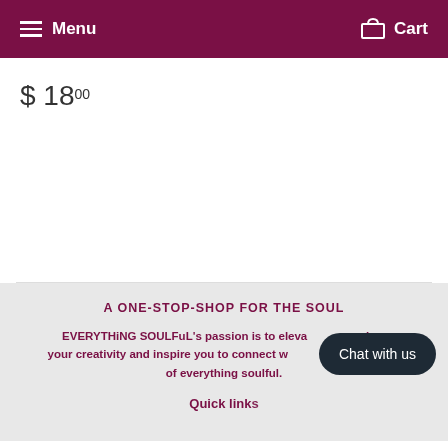Menu  Cart
$ 18 00
A ONE-STOP-SHOP FOR THE SOUL
EVERYTHiNG SOULFuL's passion is to elevate and awaken your creativity and inspire you to connect with the everyday way of everything soulful.
Quick links